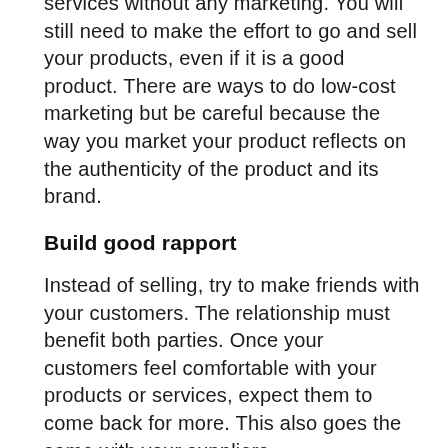services without any marketing. You will still need to make the effort to go and sell your products, even if it is a good product. There are ways to do low-cost marketing but be careful because the way you market your product reflects on the authenticity of the product and its brand.
Build good rapport
Instead of selling, try to make friends with your customers. The relationship must benefit both parties. Once your customers feel comfortable with your products or services, expect them to come back for more. This also goes the same with your suppliers.
Above all, be sincere in conducting business. Apart from your products or services, your attitude and your belief represent your business.